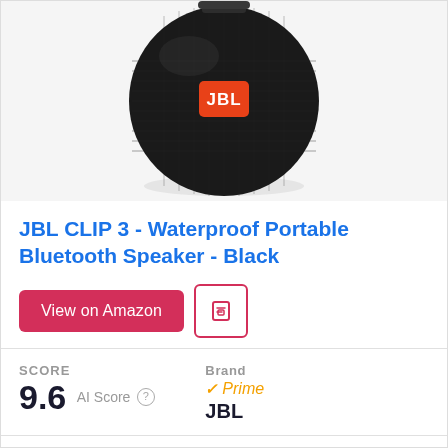[Figure (photo): JBL CLIP 3 portable Bluetooth speaker in black, circular shape with orange JBL logo badge, fabric exterior, photographed from above on white/gray background]
JBL CLIP 3 - Waterproof Portable Bluetooth Speaker - Black
View on Amazon
SCORE
9.6  AI Score  Brand
JBL
✓Prime
IPX7 waterproof
10 hours of playtime more